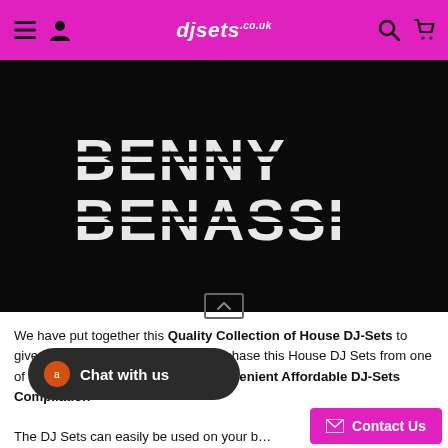djsets.co.uk — navigation header with menu, account, search, and cart icons
[Figure (logo): Benny Benassi artist logo in white stylized angular font on black background]
We have put together this Quality Collection of House DJ-Sets to give the buyer a great chance to purchase this House DJ Sets from one of the best House DJ's all in one Convenient Affordable DJ-Sets Compilation
The DJ Sets can easily be used on your b...
[Figure (screenshot): Chat with us widget — dark rounded pill button with orange icon]
[Figure (screenshot): Contact Us button — pink/magenta with envelope icon]